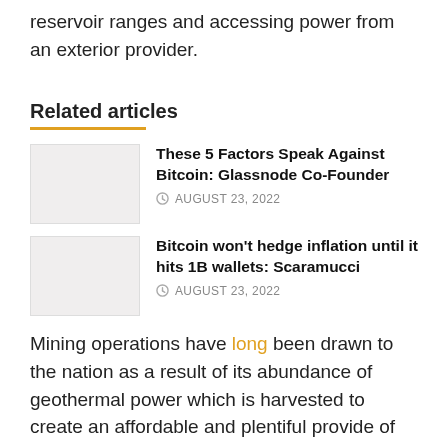with an issue at an Influence Station, low Hydro reservoir ranges and accessing power from an exterior provider.
Related articles
These 5 Factors Speak Against Bitcoin: Glassnode Co-Founder — AUGUST 23, 2022
Bitcoin won't hedge inflation until it hits 1B wallets: Scaramucci — AUGUST 23, 2022
Mining operations have long been drawn to the nation as a result of its abundance of geothermal power which is harvested to create an affordable and plentiful provide of renewable power. However from Dec. 7 for an unknown time period, any new requests for